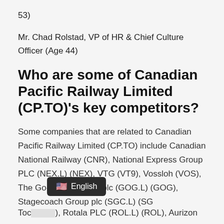53)
Mr. Chad Rolstad, VP of HR & Chief Culture Officer (Age 44)
Who are some of Canadian Pacific Railway Limited (CP.TO)'s key competitors?
Some companies that are related to Canadian Pacific Railway Limited (CP.TO) include Canadian National Railway (CNR), National Express Group PLC (NEX.L) (NEX), VTG (VT9), Vossloh (VOS), The Go-Ahead Group plc (GOG.L) (GOG), Stagecoach Group plc (SGC.L) (SGC), Holding AG (SLT.F) (SLT), Kelso Toc...), Rotala PLC (ROL.L) (ROL), Aurizon
[Figure (other): Language selector tooltip showing US flag emoji and 'English' text on dark background]